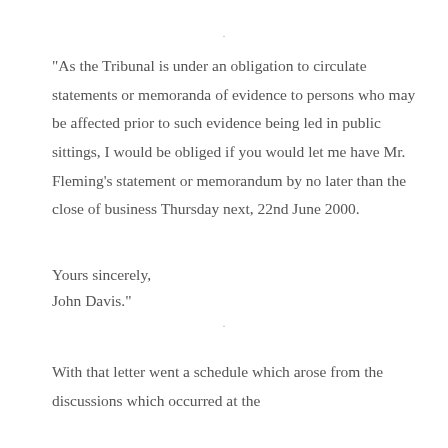“As the Tribunal is under an obligation to circulate statements or memoranda of evidence to persons who may be affected prior to such evidence being led in public sittings, I would be obliged if you would let me have Mr. Fleming’s statement or memorandum by no later than the close of business Thursday next, 22nd June 2000.
Yours sincerely,
John Davis.”
With that letter went a schedule which arose from the discussions which occurred at the